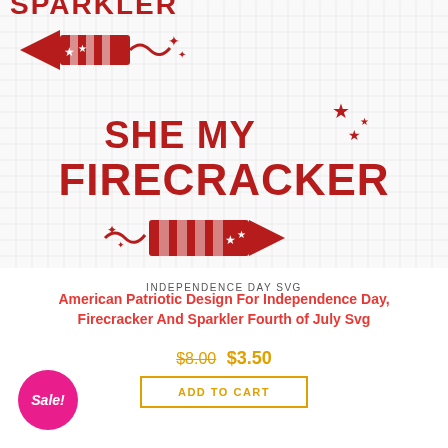[Figure (illustration): Red patriotic SVG design on grid background showing 'SHE MY FIRECRACKER' text with firecracker/sparkler graphics, stars, and decorative elements in dark red on white grid]
INDEPENDENCE DAY SVG
American Patriotic Design For Independence Day, Firecracker And Sparkler Fourth of July Svg
$8.00  $3.50
ADD TO CART
Sale!